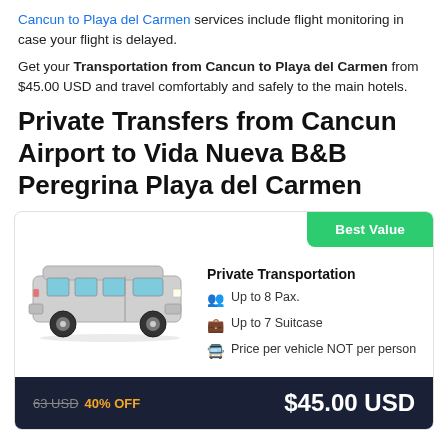Cancun to Playa del Carmen services include flight monitoring in case your flight is delayed.
Get your Transportation from Cancun to Playa del Carmen from $45.00 USD and travel comfortably and safely to the main hotels.
Private Transfers from Cancun Airport to Vida Nueva B&B Peregrina Playa del Carmen
[Figure (infographic): Service card showing a silver van/minibus image on the left, a green 'Best Value' button at top right, and service details: Private Transportation, Up to 8 Pax., Up to 7 Suitcase, Price per vehicle NOT per person. Footer shows original price 63 USD with 40% OFF and final price $45.00 USD.]